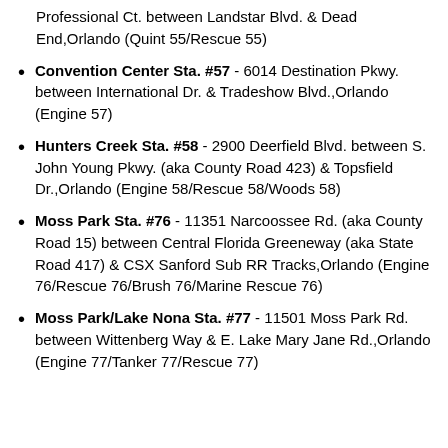Professional Ct. between Landstar Blvd. & Dead End,Orlando (Quint 55/Rescue 55)
Convention Center Sta. #57 - 6014 Destination Pkwy. between International Dr. & Tradeshow Blvd.,Orlando (Engine 57)
Hunters Creek Sta. #58 - 2900 Deerfield Blvd. between S. John Young Pkwy. (aka County Road 423) & Topsfield Dr.,Orlando (Engine 58/Rescue 58/Woods 58)
Moss Park Sta. #76 - 11351 Narcoossee Rd. (aka County Road 15) between Central Florida Greeneway (aka State Road 417) & CSX Sanford Sub RR Tracks,Orlando (Engine 76/Rescue 76/Brush 76/Marine Rescue 76)
Moss Park/Lake Nona Sta. #77 - 11501 Moss Park Rd. between Wittenberg Way & E. Lake Mary Jane Rd.,Orlando (Engine 77/Tanker 77/Rescue 77)